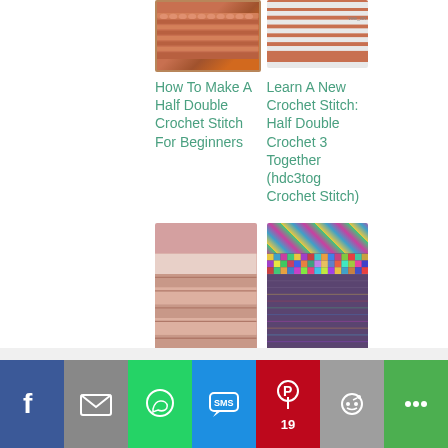[Figure (photo): Close-up photo of orange/coral crochet stitch on wood background]
[Figure (photo): Close-up photo of orange and white striped crochet stitches]
How To Make A Half Double Crochet Stitch For Beginners
Learn A New Crochet Stitch: Half Double Crochet 3 Together (hdc3tog Crochet Stitch)
[Figure (photo): Close-up photo of pink/dusty rose ridged crochet fabric]
[Figure (photo): Close-up photo of colorful multicolor crochet moss stitch fabric]
Royal Ridge
Crochet Moss
[Figure (screenshot): Social media share bar with Facebook, Email, WhatsApp, SMS, Pinterest (19 saves), Reddit, and More buttons]